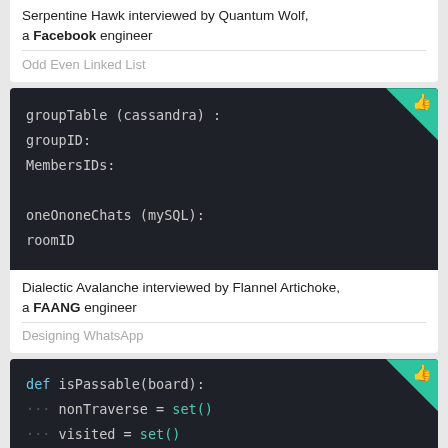Serpentine Hawk interviewed by Quantum Wolf, a Facebook engineer
Odd Even Linked List
[Figure (screenshot): Dark code block showing database schema: groupTable (cassandra): groupID: MembersIDs: oneOnoneChats (mySQL): roomID]
Dialectic Avalanche interviewed by Flannel Artichoke, a FAANG engineer
Designing WhatsApp
[Figure (screenshot): Dark code block showing Python function: def isPassable(board): nonTraverse = set() visited = set() ROW_LENGTH = len(board) COL_LENGTH = len(board[0])]